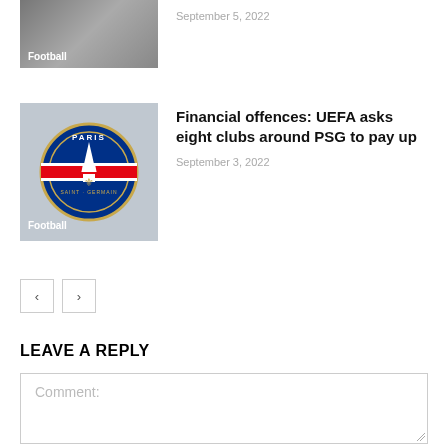[Figure (photo): Football players photo (partially visible at top), with 'Football' label overlay]
September 5, 2022
[Figure (photo): PSG badge/logo on textured background with 'Football' label overlay]
Financial offences: UEFA asks eight clubs around PSG to pay up
September 3, 2022
< >
LEAVE A REPLY
Comment: